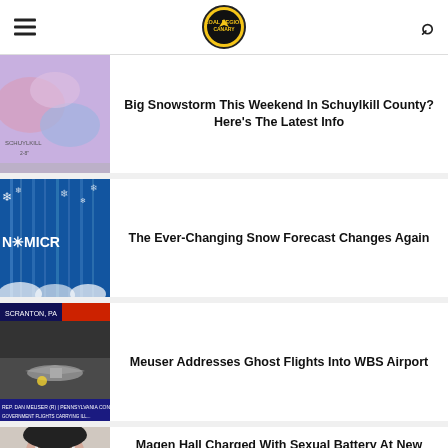Coal Region Canary
[Figure (screenshot): Weather map showing snowstorm]
Big Snowstorm This Weekend In Schuylkill County? Here's The Latest Info
[Figure (screenshot): Snowflake background with text N*MICRO]
The Ever-Changing Snow Forecast Changes Again
[Figure (screenshot): News broadcast showing airport with text: Government flights carrying illegal immigrants land at Pennsylvania]
Meuser Addresses Ghost Flights Into WBS Airport
[Figure (photo): Close-up of woman's face]
Magen Hall Charged With Sexual Battery At New Orleans Jail